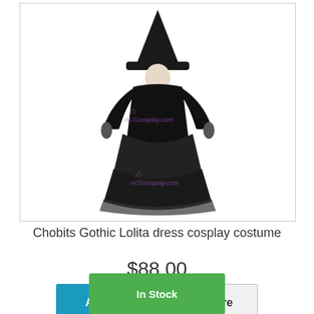[Figure (photo): Gothic Lolita witch costume dress in black with layered skirt, long sleeves, and pointed witch hat. ACGcosplay.com watermark visible.]
Chobits Gothic Lolita dress cosplay costume
$88.00
Add to cart
More
In Stock